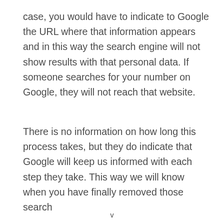case, you would have to indicate to Google the URL where that information appears and in this way the search engine will not show results with that personal data. If someone searches for your number on Google, they will not reach that website.
There is no information on how long this process takes, but they do indicate that Google will keep us informed with each step they take. This way we will know when you have finally removed those search
v